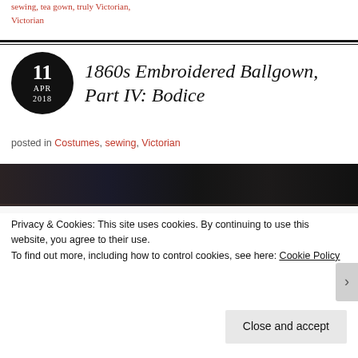sewing, tea gown, truly Victorian, Victorian
1860s Embroidered Ballgown, Part IV: Bodice
posted in Costumes, sewing, Victorian
[Figure (photo): Dark photo of a bookshelf with books and objects, dimly lit]
Privacy & Cookies: This site uses cookies. By continuing to use this website, you agree to their use.
To find out more, including how to control cookies, see here: Cookie Policy
Close and accept